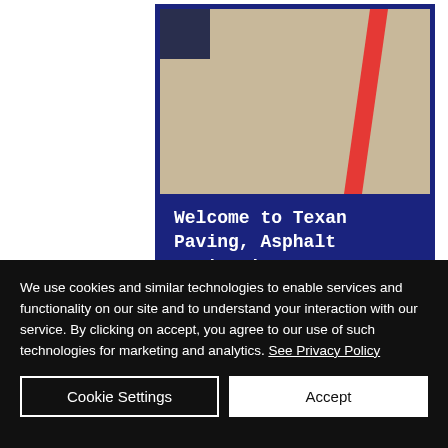[Figure (screenshot): Screenshot of Texan Paving website showing a photo of a paved surface with a red stripe, inside a dark blue card frame, with bold white monospace text reading 'Welcome to Texan Paving, Asphalt Paving in San Marcos,']
We use cookies and similar technologies to enable services and functionality on our site and to understand your interaction with our service. By clicking on accept, you agree to our use of such technologies for marketing and analytics. See Privacy Policy
Cookie Settings
Accept